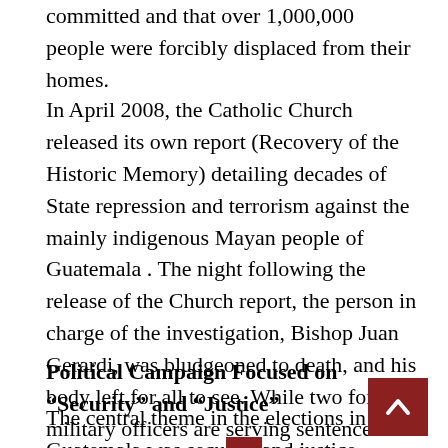committed and that over 1,000,000 people were forcibly displaced from their homes.
In April 2008, the Catholic Church released its own report (Recovery of the Historic Memory) detailing decades of State repression and terrorism against the mainly indigenous Mayan people of Guatemala .  The night following the release of the Church report, the person in charge of the investigation, Bishop Juan Gerardi, was bludgeoned to death, and his body left for all to see.  While two former military officers are serving sentences for the assassination of Gerardi, investigators claim that evidence points to Perez Molina’s involvement in the Gerardi killing, placing Perez Molina at the scene of the crime on the night of the killing.
Political Campaign Focused on “Security” and “Justice”
The central theme in the elections in Guatemala was security and justice. Guatemala’s homicide rate in March 2011 was